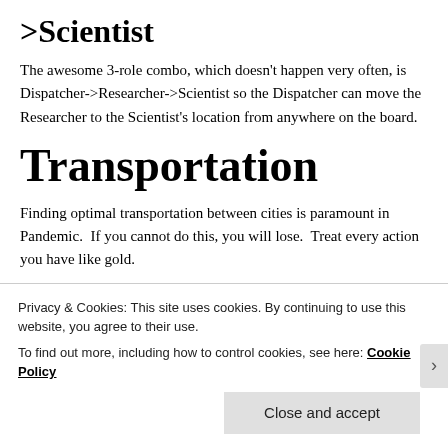>Scientist
The awesome 3-role combo, which doesn't happen very often, is Dispatcher->Researcher->Scientist so the Dispatcher can move the Researcher to the Scientist's location from anywhere on the board.
Transportation
Finding optimal transportation between cities is paramount in Pandemic.  If you cannot do this, you will lose.  Treat every action you have like gold.
Privacy & Cookies: This site uses cookies. By continuing to use this website, you agree to their use.
To find out more, including how to control cookies, see here: Cookie Policy